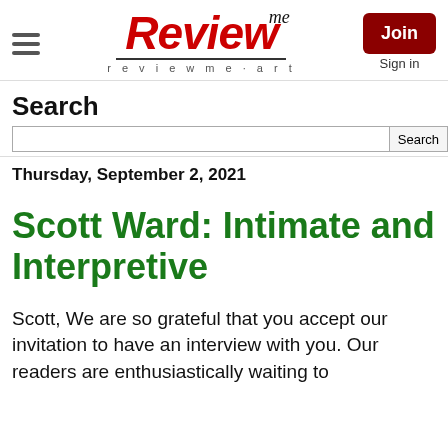ReviewMe — reviewme.art — Join / Sign in
Search
Thursday, September 2, 2021
Scott Ward: Intimate and Interpretive
Scott, We are so grateful that you accept our invitation to have an interview with you. Our readers are enthusiastically waiting to